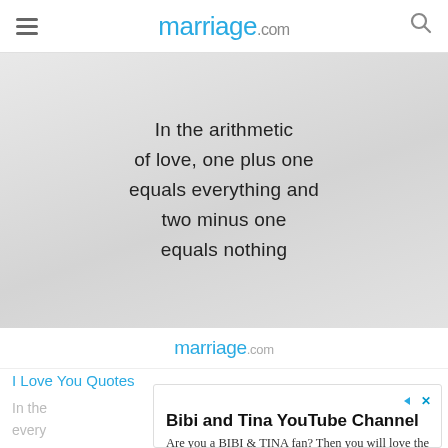marriage.com
[Figure (illustration): Gray gradient background with handwritten-style quote text: 'In the arithmetic of love, one plus one equals everything and two minus one equals nothing']
marriage.com
I Love You Quotes
In the...every...
Bibi and Tina YouTube Channel
Are you a BIBI & TINA fan? Then you will love the official Bibi and Tina Channel!
Bibi and Tina
Subscribe